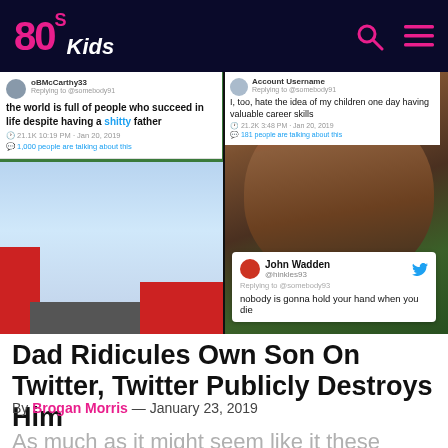80s Kids
[Figure (screenshot): Split hero image: left side shows LEGO robotics competition with tweet overlay 'the world is full of people who succeed in life despite having a shitty father' by @oBMcCarthy33, Jan 20 2019, 21.1K likes, 1,000 people are talking about this. Right side shows a bearded man selfie with two tweet overlays: 'I, too, hate the idea of my children one day having valuable career skills' and John Wadden @hinkles93 'nobody is gonna hold your hand when you die'.]
Dad Ridicules Own Son On Twitter, Twitter Publicly Destroys Him
By Brogan Morris — January 23, 2019
As much as it might seem like it these days, Twitter isn't always home to just